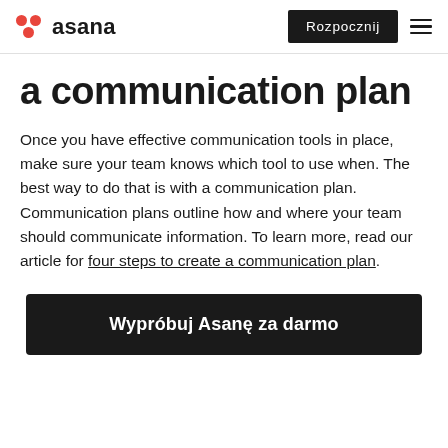asana | Rozpocznij
a communication plan
Once you have effective communication tools in place, make sure your team knows which tool to use when. The best way to do that is with a communication plan. Communication plans outline how and where your team should communicate information. To learn more, read our article for four steps to create a communication plan.
Wypróbuj Asanę za darmo